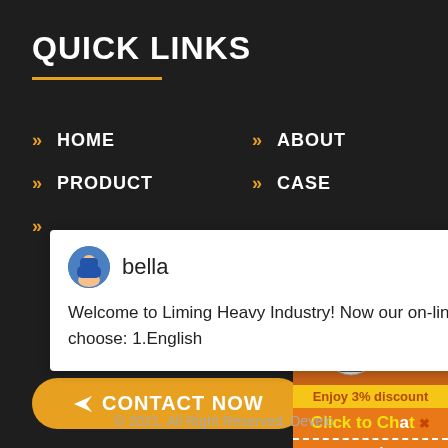QUICK LINKS
HOME
ABOUT
PRODUCT
CASE
[Figure (screenshot): Chat popup from Liming Heavy Industry with agent named 'bella' saying: Welcome to Liming Heavy Industry! Now our on-line service is chatting with you! please choose: 1.English]
CONTACT NOW
[Figure (photo): Orange panel with industrial crusher machines, blue circle badge with number 1, 'Enjoy 3% discount' text bar, 'Click to Chat' button in yellow, and 'Enquiry' text]
© 2021, All Right Reserved, Develo...